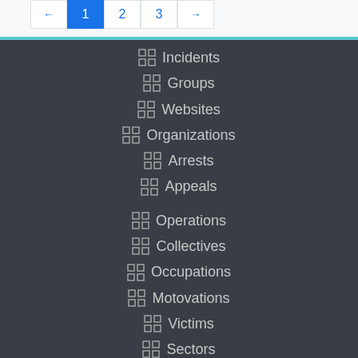← 1 2 3 →
Incidents
Groups
Websites
Organizations
Arrests
Appeals
Operations
Collectives
Occupations
Motovations
Victims
Sectors
Authorities
Authority Operations